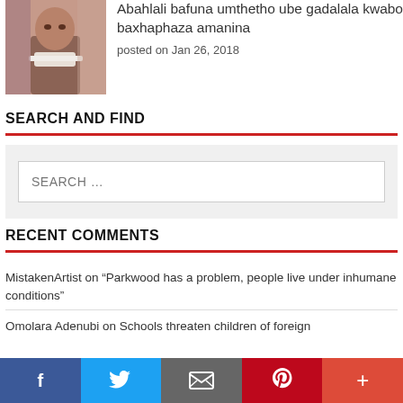[Figure (photo): Photo of a person with a bandaged neck wound]
Abahlali bafuna umthetho ube gadalala kwabo baxhaphaza amanina
posted on Jan 26, 2018
SEARCH AND FIND
SEARCH …
RECENT COMMENTS
MistakenArtist on “Parkwood has a problem, people live under inhumane conditions”
Omolara Adenubi on Schools threaten children of foreign
f  Twitter  Email  Pinterest  +